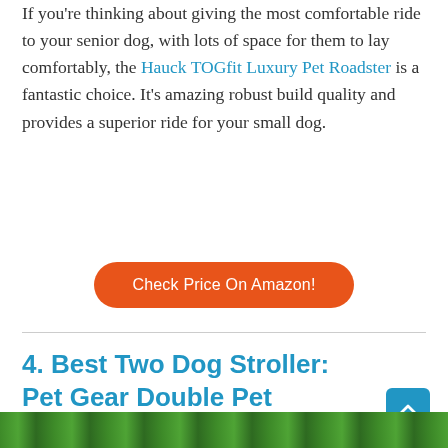If you're thinking about giving the most comfortable ride to your senior dog, with lots of space for them to lay comfortably, the Hauck TOGfit Luxury Pet Roadster is a fantastic choice. It's amazing robust build quality and provides a superior ride for your small dog.
Check Price On Amazon!
4. Best Two Dog Stroller: Pet Gear Double Pet Stroller
[Figure (photo): Partial photo strip at the bottom showing green foliage background]